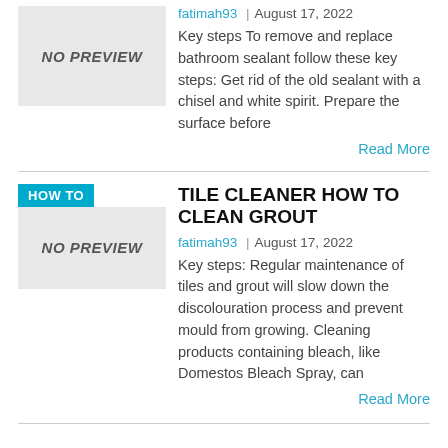[Figure (other): Thumbnail placeholder with 'NO PREVIEW' text in italic bold]
fatimah93 | August 17, 2022
Key steps To remove and replace bathroom sealant follow these key steps: Get rid of the old sealant with a chisel and white spirit. Prepare the surface before
Read More
[Figure (other): HOW TO badge in cyan, and thumbnail placeholder with 'NO PREVIEW' text]
TILE CLEANER HOW TO CLEAN GROUT
fatimah93 | August 17, 2022
Key steps: Regular maintenance of tiles and grout will slow down the discolouration process and prevent mould from growing. Cleaning products containing bleach, like Domestos Bleach Spray, can
Read More